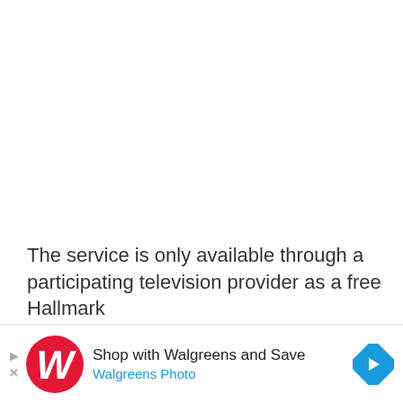The service is only available through a participating television provider as a free Hallmark
[Figure (other): Walgreens advertisement banner with Walgreens W logo, text 'Shop with Walgreens and Save' and 'Walgreens Photo', play and close icons on left, blue diamond arrow icon on right]